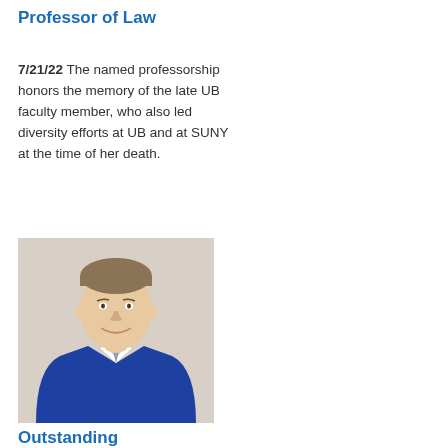Professor of Law
7/21/22 The named professorship honors the memory of the late UB faculty member, who also led diversity efforts at UB and at SUNY at the time of her death.
[Figure (photo): Professional headshot of a middle-aged man with light brown hair, wearing a blue suit jacket and striped tie, smiling, against a light grey background.]
Outstanding executive